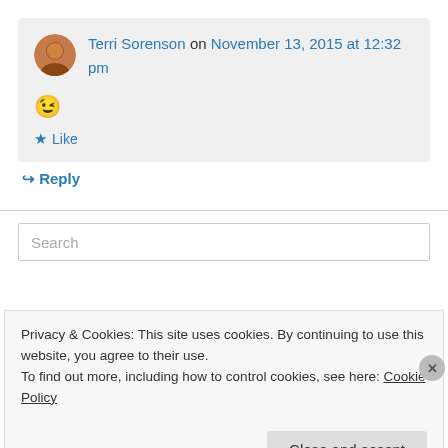Terri Sorenson on November 13, 2015 at 12:32 pm
😉
★ Like
↪ Reply
Search
Privacy & Cookies: This site uses cookies. By continuing to use this website, you agree to their use.
To find out more, including how to control cookies, see here: Cookie Policy